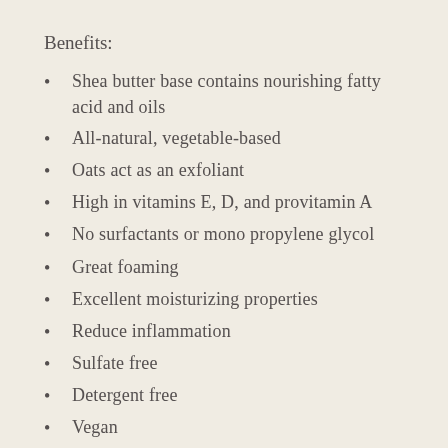Benefits:
Shea butter base contains nourishing fatty acid and oils
All-natural, vegetable-based
Oats act as an exfoliant
High in vitamins E, D, and provitamin A
No surfactants or mono propylene glycol
Great foaming
Excellent moisturizing properties
Reduce inflammation
Sulfate free
Detergent free
Vegan